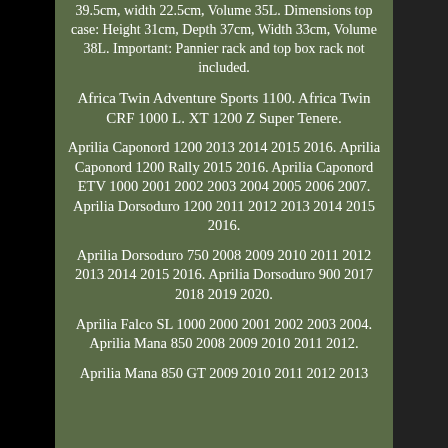39.5cm, width 22.5cm, Volume 35L. Dimensions top case: Height 31cm, Depth 37cm, Width 33cm, Volume 38L. Important: Pannier rack and top box rack not included.
Africa Twin Adventure Sports 1100. Africa Twin CRF 1000 L. XT 1200 Z Super Tenere.
Aprilia Caponord 1200 2013 2014 2015 2016. Aprilia Caponord 1200 Rally 2015 2016. Aprilia Caponord ETV 1000 2001 2002 2003 2004 2005 2006 2007. Aprilia Dorsoduro 1200 2011 2012 2013 2014 2015 2016.
Aprilia Dorsoduro 750 2008 2009 2010 2011 2012 2013 2014 2015 2016. Aprilia Dorsoduro 900 2017 2018 2019 2020.
Aprilia Falco SL 1000 2000 2001 2002 2003 2004. Aprilia Mana 850 2008 2009 2010 2011 2012.
Aprilia Mana 850 GT 2009 2010 2011 2012 2013